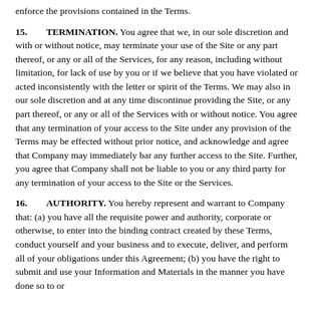enforce the provisions contained in the Terms.
15. TERMINATION. You agree that we, in our sole discretion and with or without notice, may terminate your use of the Site or any part thereof, or any or all of the Services, for any reason, including without limitation, for lack of use by you or if we believe that you have violated or acted inconsistently with the letter or spirit of the Terms. We may also in our sole discretion and at any time discontinue providing the Site, or any part thereof, or any or all of the Services with or without notice. You agree that any termination of your access to the Site under any provision of the Terms may be effected without prior notice, and acknowledge and agree that Company may immediately bar any further access to the Site. Further, you agree that Company shall not be liable to you or any third party for any termination of your access to the Site or the Services.
16. AUTHORITY. You hereby represent and warrant to Company that: (a) you have all the requisite power and authority, corporate or otherwise, to enter into the binding contract created by these Terms, conduct yourself and your business and to execute, deliver, and perform all of your obligations under this Agreement; (b) you have the right to submit and use your Information and Materials in the manner you have done so to or